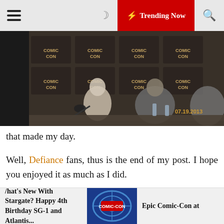☰  ☽  ⚡ Trending Now  🔍
[Figure (photo): Photo from San Diego Comic-Con 2013 panel showing people seated at a table with microphones and water bottles, Comic-Con banners in background, date 07.19.2013 visible]
that made my day.
Well, Defiance fans, thus is the end of my post. I hope you enjoyed it as much as I did.
I hope that we can all survive until June  when the new season  and adventure  starts  in  our  favorite  world  of  Defiance.
I look forward to seeing them again next year at San Diego Comic-Con in 2014!
What's New With Stargate? Happy 4th Birthday SG-1 and Atlantis...   [Comic-Con image]   Epic Comic-Con at